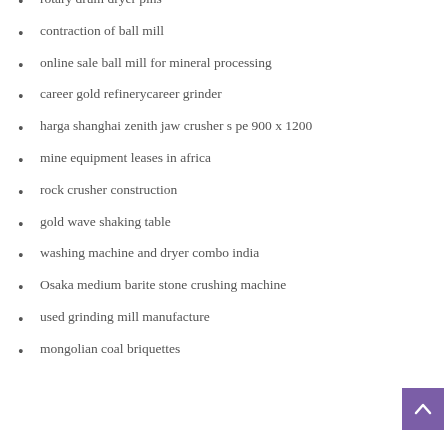rotary drum dryer pins
contraction of ball mill
online sale ball mill for mineral processing
career gold refinerycareer grinder
harga shanghai zenith jaw crusher s pe 900 x 1200
mine equipment leases in africa
rock crusher construction
gold wave shaking table
washing machine and dryer combo india
Osaka medium barite stone crushing machine
used grinding mill manufacture
mongolian coal briquettes